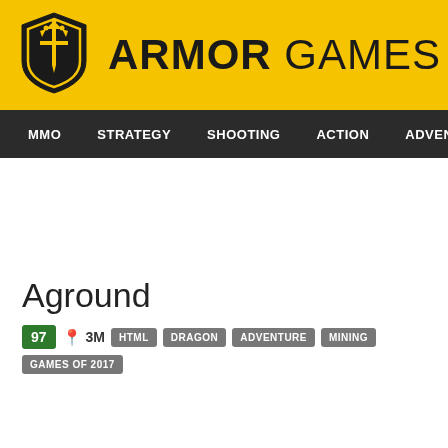[Figure (logo): Armor Games logo: yellow banner with black shield/sword icon and bold text ARMOR GAMES]
MMO  STRATEGY  SHOOTING  ACTION  ADVENTURE  P
Aground
97  3M  HTML  DRAGON  ADVENTURE  MINING  GAMES OF 2017